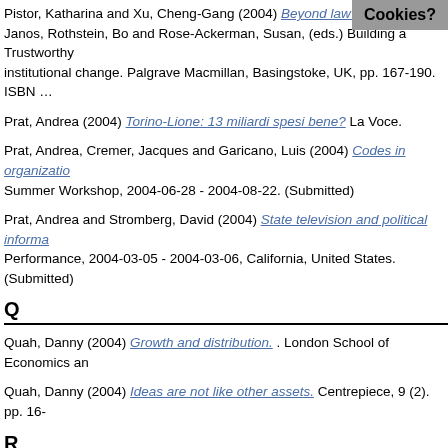Pistor, Katharina and Xu, Cheng-Gang (2004) Beyond law enforcement [link]. Janos, Rothstein, Bo and Rose-Ackerman, Susan, (eds.) Building a Trustworthy institutional change. Palgrave Macmillan, Basingstoke, UK, pp. 167-190. ISBN ...
Prat, Andrea (2004) Torino-Lione: 13 miliardi spesi bene? La Voce.
Prat, Andrea, Cremer, Jacques and Garicano, Luis (2004) Codes in organizations [link]. Summer Workshop, 2004-06-28 - 2004-08-22. (Submitted)
Prat, Andrea and Stromberg, David (2004) State television and political information [link]. Performance, 2004-03-05 - 2004-03-06, California, United States. (Submitted)
Q
Quah, Danny (2004) Growth and distribution. . London School of Economics an...
Quah, Danny (2004) Ideas are not like other assets. Centrepiece, 9 (2). pp. 16-...
R
Rahi, Rohit and Zigrand, Jean-Pierre (2004) Strategic financial innovation in se... Research, London, UK.
Redding, Stephen and Sturm, Daniel (2004) How geography matters : evide... Berlin Colloquium 2004, 2004-09-22 - 2004-09-24, Berlin, Germany. (Submitted)
Redding, Stephen and Venables, A.J. (2004) Economic geography and internat... (1). pp. 53-82. ISSN 1464-3758